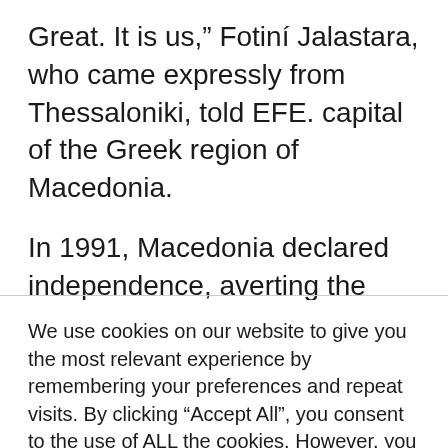Great. It is us,” Fotiní Jalastara, who came expressly from Thessaloniki, told EFE. capital of the Greek region of Macedonia.
In 1991, Macedonia declared independence, averting the violence that accompanied much of the breakup of the former Yugoslavia. Greece had agreed that, until the name dispute was resolved, its northern
We use cookies on our website to give you the most relevant experience by remembering your preferences and repeat visits. By clicking “Accept All”, you consent to the use of ALL the cookies. However, you may visit "Cookie Settings" to provide a controlled consent.